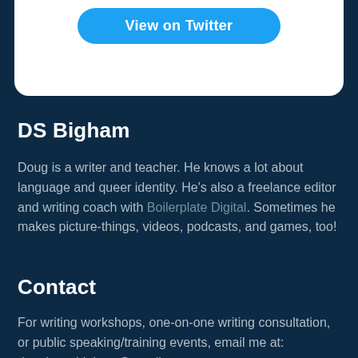[Figure (screenshot): White card with blue 'View on Twitter' button at top of page]
DS Bigham
Doug is a writer and teacher. He knows a lot about language and queer identity. He's also a freelance editor and writing coach with Boilerplate Digital. Sometimes he makes picture-things, videos, podcasts, and games, too!
Contact
For writing workshops, one-on-one writing consultation, or public speaking/training events, email me at: douglas.s.bigham@gmail.com